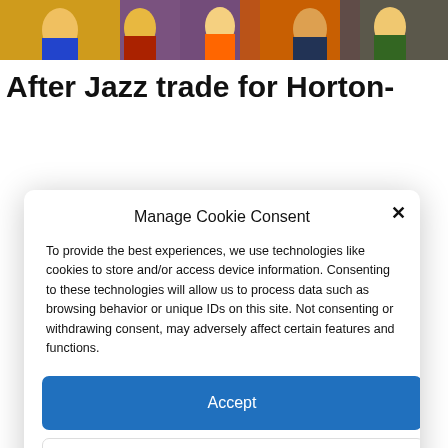[Figure (photo): Sports crowd photo partially visible at top of page behind modal]
After Jazz trade for Horton-
Manage Cookie Consent
To provide the best experiences, we use technologies like cookies to store and/or access device information. Consenting to these technologies will allow us to process data such as browsing behavior or unique IDs on this site. Not consenting or withdrawing consent, may adversely affect certain features and functions.
Accept
Deny
View preferences
Cookie Policy